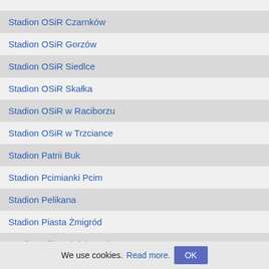Stadion OSiR Czarnków
Stadion OSiR Gorzów
Stadion OSiR Siedlce
Stadion OSiR Skałka
Stadion OSiR w Raciborzu
Stadion OSiR w Trzciance
Stadion Patrii Buk
Stadion Pcimianki Pcim
Stadion Pelikana
Stadion Piasta Żmigród
Stadion Pilicy Białobrzegi
Stadion Podlesianki
Stadion Pogoni Grodzisk Mazowiecki
Stadion Pogoni Lwówek
Stadion Pogoni Miechów
We use cookies. Read more. OK